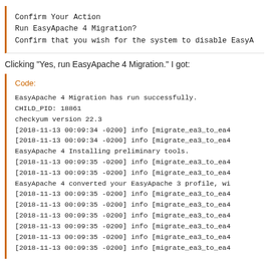[Figure (screenshot): Dialog box screenshot showing: 'Confirm Your Action', 'Run EasyApache 4 Migration?', 'Confirm that you wish for the system to disable EasyA...']
Clicking "Yes, run EasyApache 4 Migration." I got:
[Figure (screenshot): Code output box labeled 'Code:' showing migration log output including: EasyApache 4 Migration has run successfully. CHILD_PID: 18861, checkyum version 22.3, multiple [2018-11-13 00:09:34 -0200] info [migrate_ea3_to_ea4] lines, EasyApache 4 Installing preliminary tools., more log lines, EasyApache 4 converted your EasyApache 3 profile, wit..., and additional log lines.]